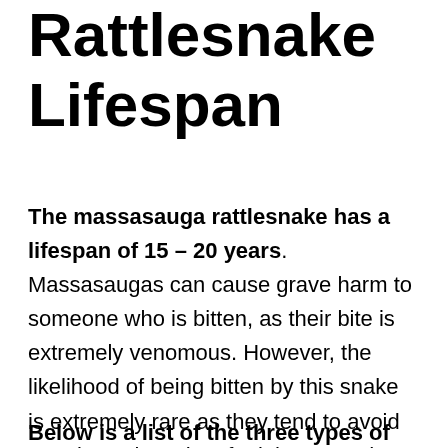Rattlesnake Lifespan
The massasauga rattlesnake has a lifespan of 15 – 20 years. Massasaugas can cause grave harm to someone who is bitten, as their bite is extremely venomous. However, the likelihood of being bitten by this snake is extremely rare as they tend to avoid people. Unless they feel threatened, this snake will not seek out people to bite.
Below is a list of the three types of